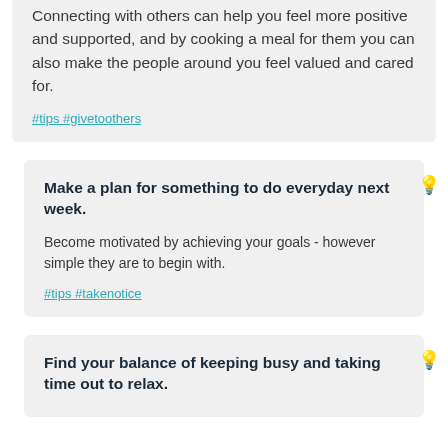Connecting with others can help you feel more positive and supported, and by cooking a meal for them you can also make the people around you feel valued and cared for.
#tips #givetoothers
Make a plan for something to do everyday next week.
Become motivated by achieving your goals - however simple they are to begin with.
#tips #takenotice
Find your balance of keeping busy and taking time out to relax.